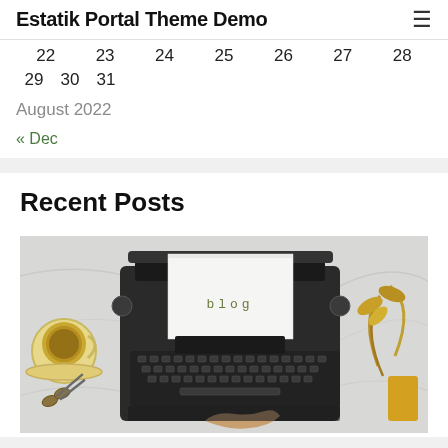Estatik Portal Theme Demo
| 22 | 23 | 24 | 25 | 26 | 27 | 28 |
| 29 | 30 | 31 |  |  |  |  |
August 2022
« Dec
Recent Posts
[Figure (photo): A vintage typewriter on a marble surface with a sheet of paper inserted showing the word 'blog' in typewriter font. A cup of tea is visible on the left and a golden plant on the right. Scissors are visible at the bottom left.]